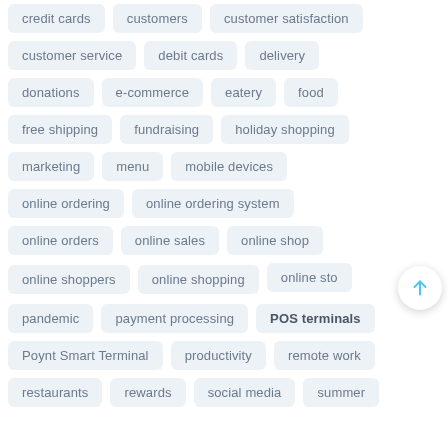credit cards
customers
customer satisfaction
customer service
debit cards
delivery
donations
e-commerce
eatery
food
free shipping
fundraising
holiday shopping
marketing
menu
mobile devices
online ordering
online ordering system
online orders
online sales
online shop
online shoppers
online shopping
online sto…
pandemic
payment processing
POS terminals
Poynt Smart Terminal
productivity
remote work
restaurants
rewards
social media
summer